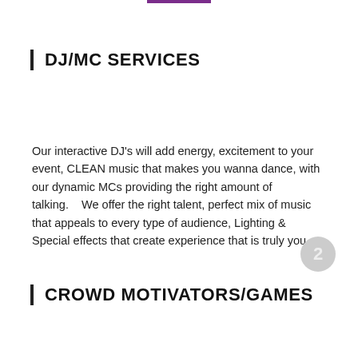DJ/MC SERVICES
Our interactive DJ's will add energy, excitement to your event, CLEAN music that makes you wanna dance, with our dynamic MCs providing the right amount of talking.    We offer the right talent, perfect mix of music that appeals to every type of audience, Lighting & Special effects that create experience that is truly you.
CROWD MOTIVATORS/GAMES